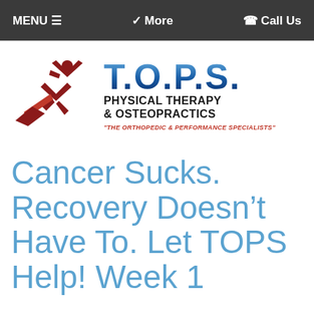MENU ☰   ❯ More   ✆ Call Us
[Figure (logo): T.O.P.S. Physical Therapy & Osteopractics logo with running figure and tagline 'THE ORTHOPEDIC & PERFORMANCE SPECIALISTS']
Cancer Sucks. Recovery Doesn't Have To. Let TOPS Help! Week 1